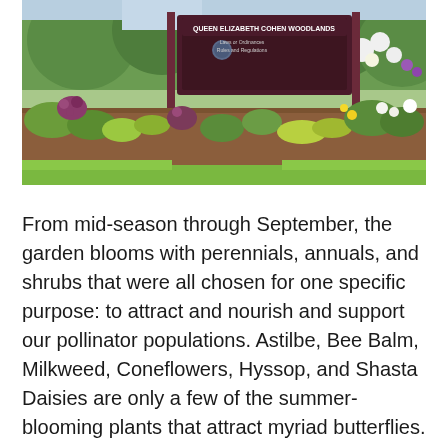[Figure (photo): Outdoor garden photograph showing a flower bed with colorful perennials and shrubs in front of a dark wooden sign reading 'QUEEN ELIZABETH COHEN WOODLANDS' with text about guidelines and regulations. The garden features various plants including white, yellow, and purple flowers against a mulched bed with green lawn in the background.]
From mid-season through September, the garden blooms with perennials, annuals, and shrubs that were all chosen for one specific purpose: to attract and nourish and support our pollinator populations. Astilbe, Bee Balm, Milkweed, Coneflowers, Hyssop, and Shasta Daisies are only a few of the summer-blooming plants that attract myriad butterflies. One can see many butterfly species familiar in Connecticut: Swallowtails, Whites, Sulphurs, Coppers, Fritillaries, Admirals, and Monarchs among others. The wealth of nectar and pollen also